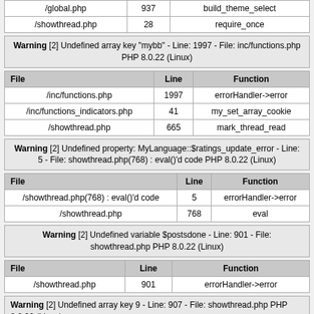| /global.php | 937 | build_theme_select |
| /showthread.php | 28 | require_once |
Warning [2] Undefined array key "mybb" - Line: 1997 - File: inc/functions.php PHP 8.0.22 (Linux)
| File | Line | Function |
| --- | --- | --- |
| /inc/functions.php | 1997 | errorHandler->error |
| /inc/functions_indicators.php | 41 | my_set_array_cookie |
| /showthread.php | 665 | mark_thread_read |
Warning [2] Undefined property: MyLanguage::$ratings_update_error - Line: 5 - File: showthread.php(768) : eval()'d code PHP 8.0.22 (Linux)
| File | Line | Function |
| --- | --- | --- |
| /showthread.php(768) : eval()'d code | 5 | errorHandler->error |
| /showthread.php | 768 | eval |
Warning [2] Undefined variable $postsdone - Line: 901 - File: showthread.php PHP 8.0.22 (Linux)
| File | Line | Function |
| --- | --- | --- |
| /showthread.php | 901 | errorHandler->error |
Warning [2] Undefined array key 9 - Line: 907 - File: showthread.php PHP 8.0.22 (Linux)